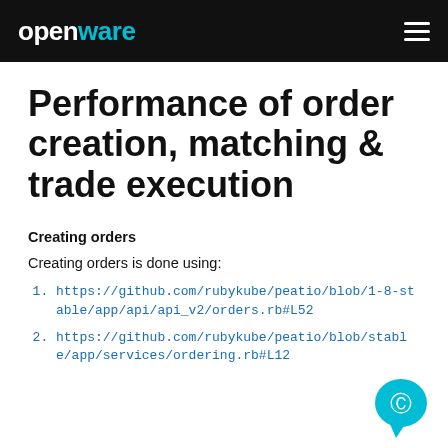openware
Performance of order creation, matching & trade execution
Creating orders
Creating orders is done using:
https://github.com/rubykube/peatio/blob/1-8-stable/app/api/api_v2/orders.rb#L52
https://github.com/rubykube/peatio/blob/stable/app/services/ordering.rb#L12